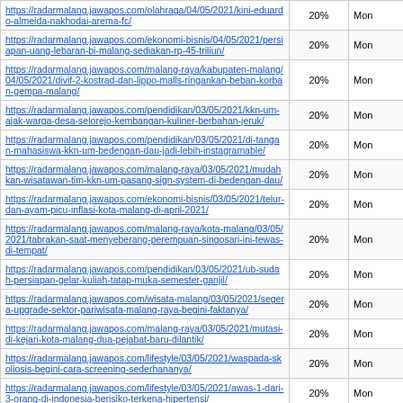| URL | Percentage | Mon |
| --- | --- | --- |
| https://radarmalang.jawapos.com/olahraga/04/05/2021/kini-eduardo-almeida-nakhodai-arema-fc/ | 20% | Mon |
| https://radarmalang.jawapos.com/ekonomi-bisnis/04/05/2021/persiapan-uang-lebaran-bi-malang-sediakan-rp-45-triliun/ | 20% | Mon |
| https://radarmalang.jawapos.com/malang-raya/kabupaten-malang/04/05/2021/divif-2-kostrad-dan-lippo-malls-ringankan-beban-korban-gempa-malang/ | 20% | Mon |
| https://radarmalang.jawapos.com/pendidikan/03/05/2021/kkn-um-ajak-warga-desa-selorejo-kembangan-kuliner-berbahan-jeruk/ | 20% | Mon |
| https://radarmalang.jawapos.com/pendidikan/03/05/2021/di-tangan-mahasiswa-kkn-um-bedengan-dau-jadi-lebih-instagramable/ | 20% | Mon |
| https://radarmalang.jawapos.com/malang-raya/03/05/2021/mudahkan-wisatawan-tim-kkn-um-pasang-sign-system-di-bedengan-dau/ | 20% | Mon |
| https://radarmalang.jawapos.com/ekonomi-bisnis/03/05/2021/telur-dan-ayam-picu-inflasi-kota-malang-di-april-2021/ | 20% | Mon |
| https://radarmalang.jawapos.com/malang-raya/kota-malang/03/05/2021/tabrakan-saat-menyeberang-perempuan-singosari-ini-tewas-di-tempat/ | 20% | Mon |
| https://radarmalang.jawapos.com/pendidikan/03/05/2021/ub-sudah-persiapan-gelar-kuliah-tatap-muka-semester-ganjil/ | 20% | Mon |
| https://radarmalang.jawapos.com/wisata-malang/03/05/2021/segera-upgrade-sektor-pariwisata-malang-raya-begini-faktanya/ | 20% | Mon |
| https://radarmalang.jawapos.com/malang-raya/03/05/2021/mutasi-di-kejari-kota-malang-dua-pejabat-baru-dilantik/ | 20% | Mon |
| https://radarmalang.jawapos.com/lifestyle/03/05/2021/waspada-skoliosis-begini-cara-screening-sederhananya/ | 20% | Mon |
| https://radarmalang.jawapos.com/lifestyle/03/05/2021/awas-1-dari-3-orang-di-indonesia-berisiko-terkena-hipertensi/ | 20% | Mon |
| https://radarmalang.jawapos.com/ekonomi-bisnis/03/05/2021/boyongan-jamkrindo-malang-tempati-kantor-baru-jalan-semeru-66/ | 20% | Mon |
| https://radarmalang.jawapos.com/nusantara/03/05/2021/perempuan-pengirim-sate-beracun-yang-tewaskan-anak-ojol-diringkus/ | 20% | Mon |
| https://radarmalang.jawapos.com/ekonomi-bisnis/03/05/2021/persiapan- | 20% | Mon |